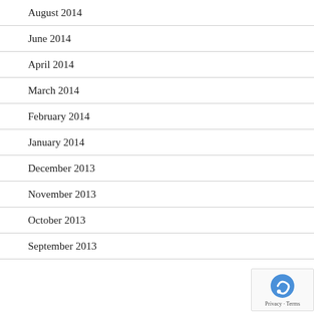August 2014
June 2014
April 2014
March 2014
February 2014
January 2014
December 2013
November 2013
October 2013
September 2013